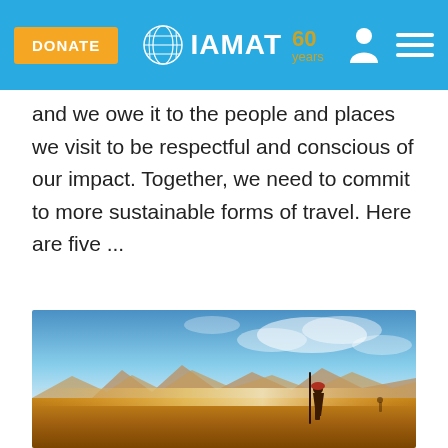DONATE | IAMAT 60 years
and we owe it to the people and places we visit to be respectful and conscious of our impact. Together, we need to commit to more sustainable forms of travel. Here are five ...
[Figure (photo): Wide landscape photo showing a golden sunset over flat plains with mountains in the background and a person carrying a staff in the foreground, warm orange and blue tones.]